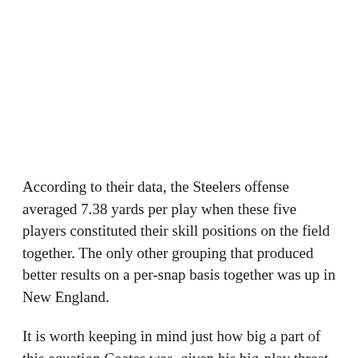According to their data, the Steelers offense averaged 7.38 yards per play when these five players constituted their skill positions on the field together. The only other grouping that produced better results on a per-snap basis together was up in New England.
It is worth keeping in mind just how big a part of this equation Coates was, given his big-play threat, but by my count, in my charting I have this group producing at least 15 plays that went for at least 15 yards. Four of those were